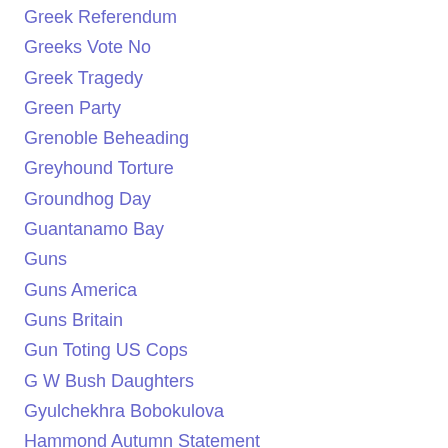Greek Referendum
Greeks Vote No
Greek Tragedy
Green Party
Grenoble Beheading
Greyhound Torture
Groundhog Day
Guantanamo Bay
Guns
Guns America
Guns Britain
Gun Toting US Cops
G W Bush Daughters
Gyulchekhra Bobokulova
Hammond Autumn Statement
Happy New Year
Hardon Collider
Haroon Ahmed